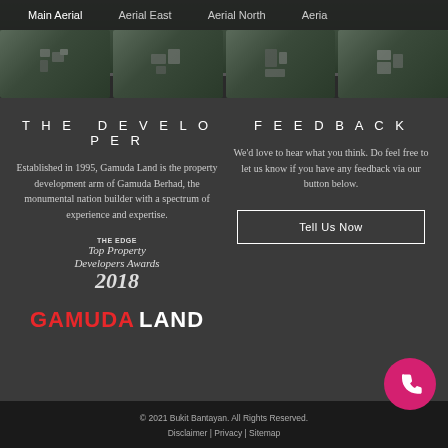[Figure (screenshot): Top navigation tab bar showing aerial view tabs: Main Aerial, Aerial East, Aerial North, Aerial (truncated), with aerial photograph thumbnails below and a blue progress indicator]
THE DEVELOPER
Established in 1995, Gamuda Land is the property development arm of Gamuda Berhad, the monumental nation builder with a spectrum of experience and expertise.
[Figure (logo): THE EDGE Top Property Developers Awards 2018 award logo with cursive text and year 2018]
[Figure (logo): GAMUDA LAND logo with GAMUDA in red and LAND in white]
FEEDBACK
We'd love to hear what you think. Do feel free to let us know if you have any feedback via our button below.
Tell Us Now
© 2021 Bukit Bantayan. All Rights Reserved. Disclaimer | Privacy | Sitemap